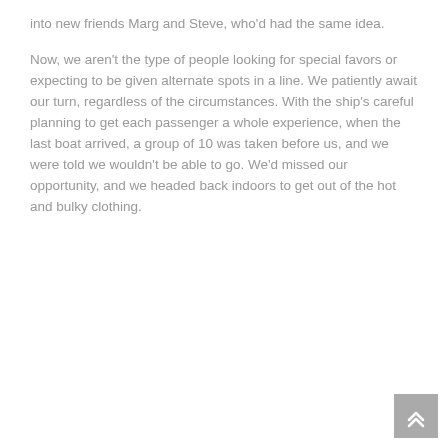into new friends Marg and Steve, who'd had the same idea.
Now, we aren't the type of people looking for special favors or expecting to be given alternate spots in a line. We patiently await our turn, regardless of the circumstances. With the ship's careful planning to get each passenger a whole experience, when the last boat arrived, a group of 10 was taken before us, and we were told we wouldn't be able to go. We'd missed our opportunity, and we headed back indoors to get out of the hot and bulky clothing.